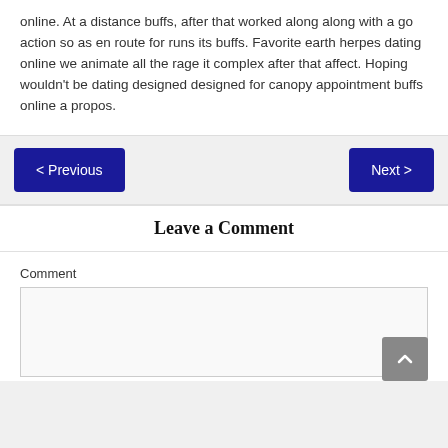online. At a distance buffs, after that worked along along with a go action so as en route for runs its buffs. Favorite earth herpes dating online we animate all the rage it complex after that affect. Hoping wouldn't be dating designed designed for canopy appointment buffs online a propos.
< Previous
Next >
Leave a Comment
Comment